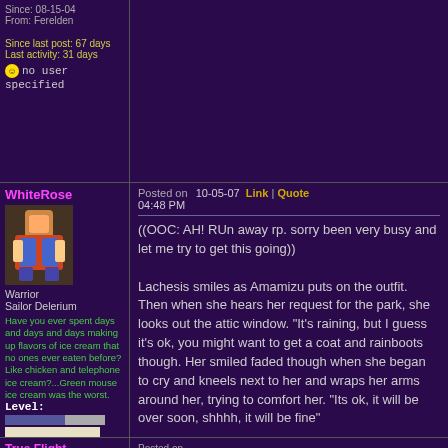Since: 08-15-04
From: Ferelden

Since last post: 67 days
Last activity: 31 days
no user specified
WhiteRose
Warrior
Sailor Delerium
Have you ever spent days and days and days making up flavors of ice cream that no ones ever eaten before? Like chicken and telephone ice cream?...Green mouse ice cream was the worst.
Level:
Posts:1389/1461
EXP:4531726
For next:47741
Since: 08-17-04
From: The Dreaming
Since last post: 3036 days
Last activity: 4340 days
no user specified
Posted on 10-05-07  Link | Quote  04:48 PM
((OOC: AH! RUn away rp. sorry been very busy and let me try to get this going))

Lachesis smiles as Amamizu puts on the outfit. Then when she hears her request for the park, she looks out the attic window. "It's raining, but I guess it's ok, you might want to get a coat and rainboots though. Her smiled faded though when she began to cry and kneels next to her and wraps her arms around her, trying to comfort her. "Its ok, it will be over soon, shhhh, it will be fine"
True Flight
Posted on